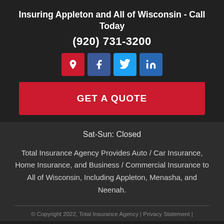Insuring Appleton and All of Wisconsin - Call Today
(920) 731-3200
[Figure (other): Four social media icon buttons: location pin (red), Facebook (dark blue), Twitter (light blue), LinkedIn (blue)]
GET A QUOTE
Sat-Sun: Closed
Total Insurance Agency Provides Auto / Car Insurance, Home Insurance, and Business / Commercial Insurance to All of Wisconsin, Including Appleton, Menasha, and Neenah.
© Copyright 2022, Total Insurance Agency | Privacy Statement |